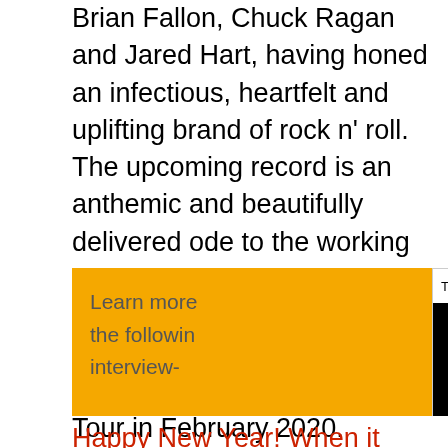Brian Fallon, Chuck Ragan and Jared Hart, having honed an infectious, heartfelt and uplifting brand of rock n' roll. The upcoming record is an anthemic and beautifully delivered ode to the working classes, with bit of grit & a bit of romance. 13 Crowes supports the album release with a headline European Tour in February 2020.
[Figure (screenshot): Yellow promotional box with text 'Learn more... the following... interview-' partially obscured by a popup video player overlay labeled 'Top Entertainment: - Rolling Stone x VM...' with a mute button (orange circle with speaker icon) and loading spinner on black background. A close button (x) appears in top right of popup.]
Happy New Year! When it comes to your